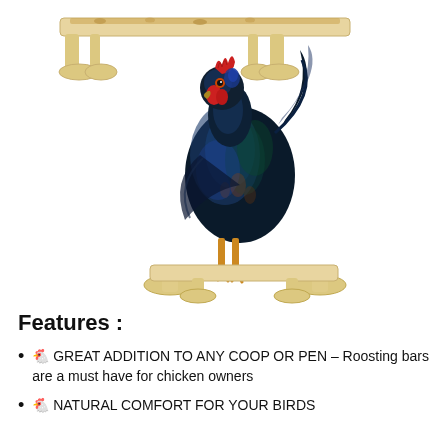[Figure (photo): A black rooster with iridescent blue-green feathers and a red comb standing on a wooden roosting bar/perch made of light-colored unfinished wood. Another roosting bar is partially visible at the top of the image. White background.]
Features :
🐔 GREAT ADDITION TO ANY COOP OR PEN – Roosting bars are a must have for chicken owners
🐔 NATURAL COMFORT FOR YOUR BIRDS